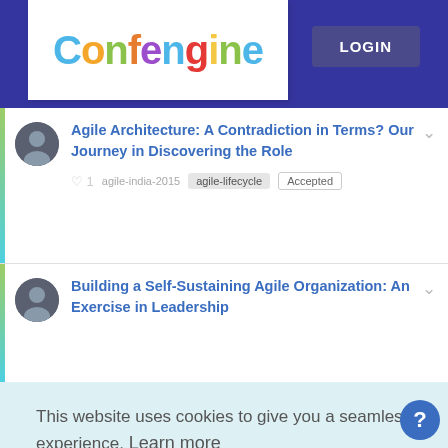Confengine | LOGIN
Agile Architecture: A Contradiction in Terms? Our Journey in Discovering the Role | agile-india-2015 | agile-lifecycle | Accepted
Building a Self-Sustaining Agile Organization: An Exercise in Leadership
This website uses cookies to give you a seamless experience. Learn more
Got it!